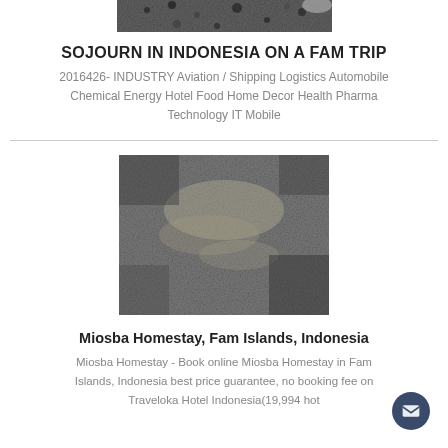[Figure (photo): Partial top image, dark speckled texture, animal print pattern]
SOJOURN IN INDONESIA ON A FAM TRIP
2016426- INDUSTRY Aviation / Shipping Logistics Automobile Chemical Energy Hotel Food Home Decor Health Pharma Technology IT Mobile
[Figure (photo): Dark sandy/rocky grainy texture close-up photo - Miosba Homestay Fam Islands Indonesia]
Miosba Homestay, Fam Islands, Indonesia
Miosba Homestay - Book online Miosba Homestay in Fam Islands, Indonesia best price guarantee, no booking fee on Traveloka Hotel Indonesia(19,994 hot